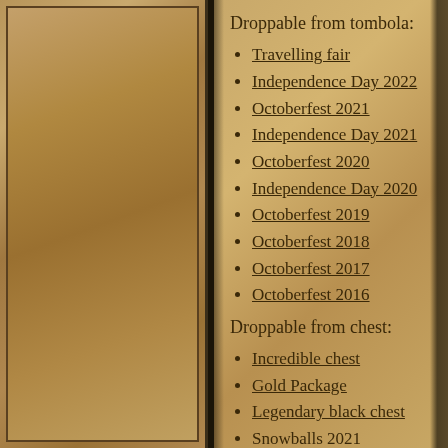Droppable from tombola:
Travelling fair
Independence Day 2022
Octoberfest 2021
Independence Day 2021
Octoberfest 2020
Independence Day 2020
Octoberfest 2019
Octoberfest 2018
Octoberfest 2017
Octoberfest 2016
Droppable from chest:
Incredible chest
Gold Package
Legendary black chest
Snowballs 2021
Snowflake
Bag with documents